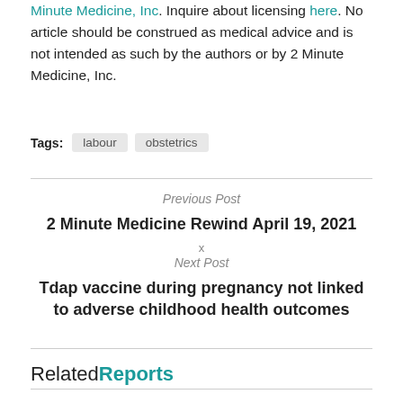Minute Medicine, Inc. Inquire about licensing here. No article should be construed as medical advice and is not intended as such by the authors or by 2 Minute Medicine, Inc.
Tags: labour obstetrics
Previous Post
2 Minute Medicine Rewind April 19, 2021
Next Post
Tdap vaccine during pregnancy not linked to adverse childhood health outcomes
RelatedReports